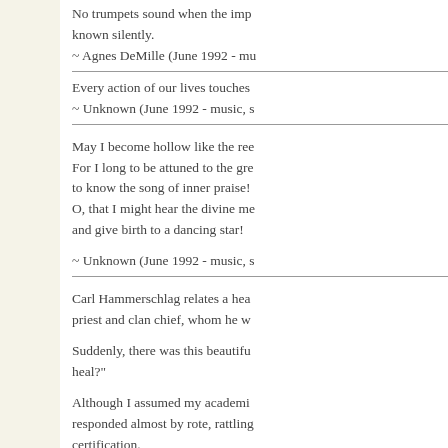No trumpets sound when the imp known silently.
~ Agnes DeMille (June 1992 - mu
Every action of our lives touches
~ Unknown (June 1992 - music, s
May I become hollow like the ree
For I long to be attuned to the gre
to know the song of inner praise!
O, that I might hear the divine me
and give birth to a dancing star!

~ Unknown (June 1992 - music, s
Carl Hammerschlag relates a hea priest and clan chief, whom he w
Suddenly, there was this beautifu heal?"
Although I assumed my academi responded almost by rote, rattling certification.
Again the beatific smile and anot